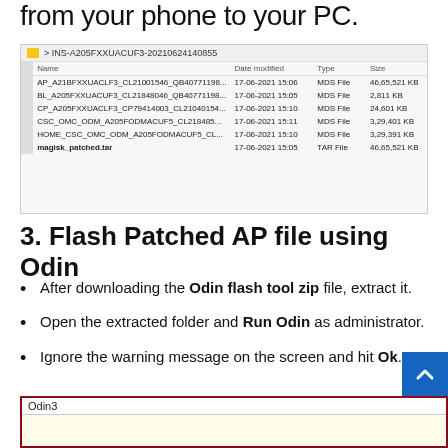from your phone to your PC.
[Figure (screenshot): Windows File Explorer showing files transferred from phone including AP, BL, CP, CSC, HOME_CSC files and magisk_patched.tar highlighted in blue]
3. Flash Patched AP file using Odin
After downloading the Odin flash tool zip file, extract it.
Open the extracted folder and Run Odin as administrator.
Ignore the warning message on the screen and hit Ok.
[Figure (screenshot): Odin3 application window partially visible at bottom of page]